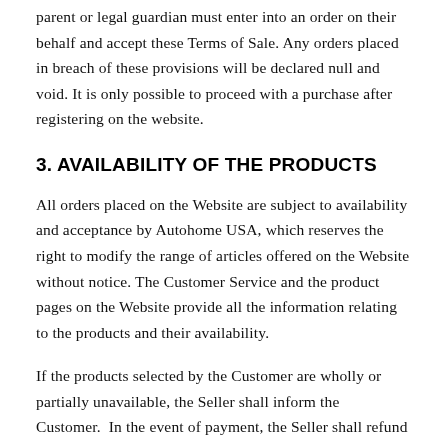parent or legal guardian must enter into an order on their behalf and accept these Terms of Sale. Any orders placed in breach of these provisions will be declared null and void. It is only possible to proceed with a purchase after registering on the website.
3. AVAILABILITY OF THE PRODUCTS
All orders placed on the Website are subject to availability and acceptance by Autohome USA, which reserves the right to modify the range of articles offered on the Website without notice. The Customer Service and the product pages on the Website provide all the information relating to the products and their availability.
If the products selected by the Customer are wholly or partially unavailable, the Seller shall inform the Customer. In the event of payment, the Seller shall refund the price paid